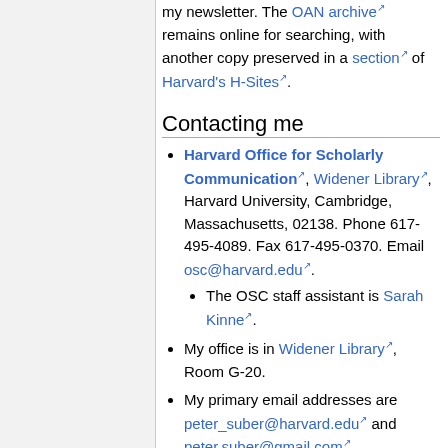my newsletter. The OAN archive remains online for searching, with another copy preserved in a section of Harvard's H-Sites.
Contacting me
Harvard Office for Scholarly Communication, Widener Library, Harvard University, Cambridge, Massachusetts, 02138. Phone 617-495-4089. Fax 617-495-0370. Email osc@harvard.edu.
The OSC staff assistant is Sarah Kinne.
My office is in Widener Library, Room G-20.
My primary email addresses are peter_suber@harvard.edu and peter.suber@gmail.com.